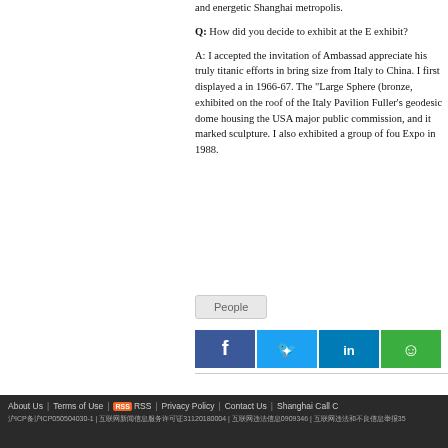and energetic Shanghai metropolis.
Q: How did you decide to exhibit at the E exhibit?
A: I accepted the invitation of Ambassad appreciate his truly titanic efforts in bring size from Italy to China. I first displayed a in 1966-67. The "Large Sphere (bronze, exhibited on the roof of the Italy Pavilion Fuller's geodesic dome housing the USA major public commission, and it marked sculpture. I also exhibited a group of fou Expo in 1988.
People
[Figure (infographic): Social media share buttons: Facebook (blue), Twitter (light blue), LinkedIn (dark blue), WeChat (green)]
About Us | Terms of Use | RSS | Privacy Policy | Contact Us | Shanghai Call C
沪ICP备沪ICP050504030-1 | 互联网新闻信息服务许可证31120180004 | 互联网违法信息0909346 | 互联网违法和不良信息举报35